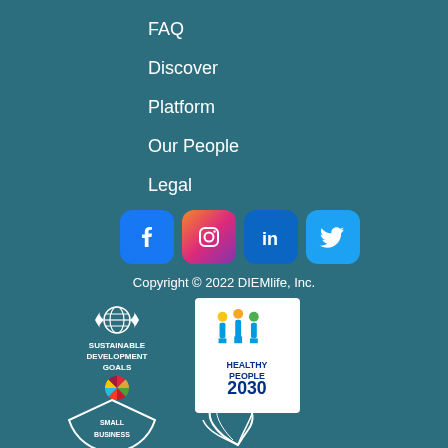FAQ
Discover
Platform
Our People
Legal
[Figure (logo): Social media icons: Facebook, Instagram, LinkedIn, Twitter]
Copyright © 2022 DIEMlife, Inc.
[Figure (logo): UN Sustainable Development Goals logo]
[Figure (logo): Healthy People 2030 logo]
[Figure (logo): Small Business logo]
[Figure (logo): Leaf/plant illustration logo]